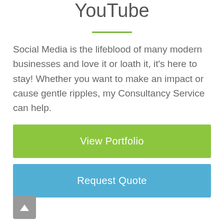YouTube
Social Media is the lifeblood of many modern businesses and love it or loath it, it's here to stay! Whether you want to make an impact or cause gentle ripples, my Consultancy Service can help.
View Portfolio
Request Quote